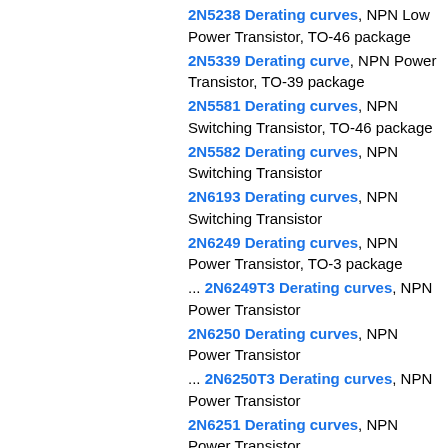2N5238 Derating curves, NPN Low Power Transistor, TO-46 package
2N5339 Derating curve, NPN Power Transistor, TO-39 package
2N5581 Derating curves, NPN Switching Transistor, TO-46 package
2N5582 Derating curves, NPN Switching Transistor
2N6193 Derating curves, NPN Switching Transistor
2N6249 Derating curves, NPN Power Transistor, TO-3 package
... 2N6249T3 Derating curves, NPN Power Transistor
2N6250 Derating curves, NPN Power Transistor
... 2N6250T3 Derating curves, NPN Power Transistor
2N6251 Derating curves, NPN Power Transistor
... 2N6251T3 Derating curves, NPN Power Transistor